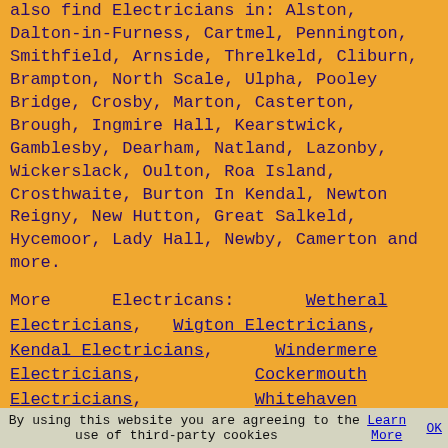also find Electricians in: Alston, Dalton-in-Furness, Cartmel, Pennington, Smithfield, Arnside, Threlkeld, Cliburn, Brampton, North Scale, Ulpha, Pooley Bridge, Crosby, Marton, Casterton, Brough, Ingmire Hall, Kearstwick, Gamblesby, Dearham, Natland, Lazonby, Wickerslack, Oulton, Roa Island, Crosthwaite, Burton In Kendal, Newton Reigny, New Hutton, Great Salkeld, Hycemoor, Lady Hall, Newby, Camerton and more.
More Electricans: Wetheral Electricians, Wigton Electricians, Kendal Electricians, Windermere Electricians, Cockermouth Electricians, Whitehaven Electricians, Penrith Electricians, Workington Electricians, Cleator Moor Electricians, Millom Electricians, Egremont Electricians, Barrow-in-Furness Electricians, Seaton
By using this website you are agreeing to the use of third-party cookies Learn More OK